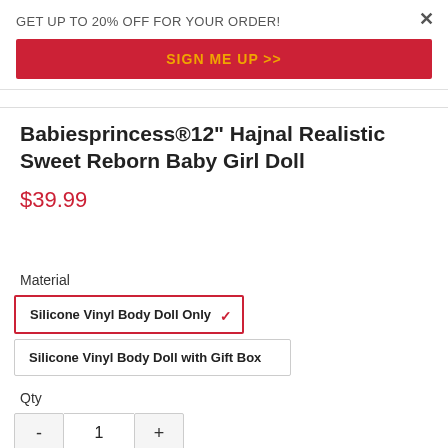GET UP TO 20% OFF FOR YOUR ORDER!
SIGN ME UP >>
Babiesprincess®12" Hajnal Realistic Sweet Reborn Baby Girl Doll
$39.99
Material
Silicone Vinyl Body Doll Only
Silicone Vinyl Body Doll with Gift Box
Qty
1